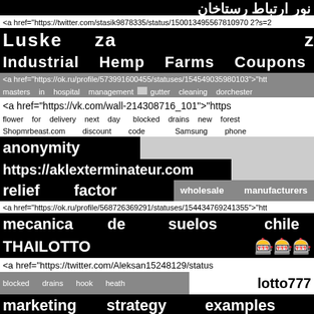نور ... ارتباط ... (Arabic/Persian text)
<a href="https://twitter.com/stasik9878335/status/150013495567810970 2?s=2
Luske   za   zobe
Industrial   Hemp   Farms   Coupons
<a href="https://ok.ru/profile/573991600455/statuses/154549035980103">"htt
masters   in   hospital   management   gutter   cleaning   dorchester
<a href="https://vk.com/wall-214308716_101">"https
flower   for   delivery   next   day   blocked   drains   new   forest
Shopmrbeast.com   discount   code   Samsung   phone
anonymity
https://aklexterminateur.com
relief   factor   wholesale   manufacturers
<a href="https://ok.ru/profile/568726369291/statuses/154434769241355">"htt
mecanica   de   suelos   chile
THAILOTTO   🎰🎰🎰
<a href="https://twitter.com/Aleksan15248129/status
blocked   drains   hook   heath   lotto777
marketing   strategy   examples
🎰🎰🎰🎰888
<a href="https://ok.ru/profile/57186887